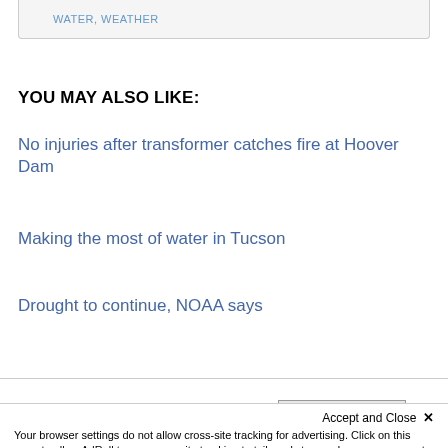WATER, WEATHER
YOU MAY ALSO LIKE:
No injuries after transformer catches fire at Hoover Dam
Making the most of water in Tucson
Drought to continue, NOAA says
By posting comments, you agree to our  Comment Policy
Accept and Close ×
Your browser settings do not allow cross-site tracking for advertising. Click on this page to allow AdRoll to use cross-site tracking to tailor ads to you. Learn more or opt out of this AdRoll tracking by clicking here. This message only appears once.